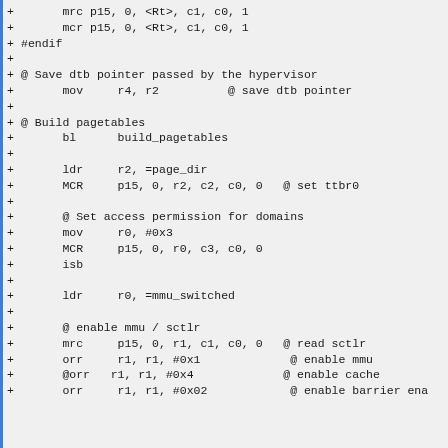+ mrc p15, 0, <Rt>, c1, c0, 1
+ mcr p15, 0, <Rt>, c1, c0, 1
+#endif
+
+@ Save dtb pointer passed by the hypervisor
+ mov r4, r2 @ save dtb pointer
+
+@ Build pagetables
+ bl build_pagetables
+
+ ldr r2, =page_dir
+ MCR p15, 0, r2, c2, c0, 0 @ set ttbr0
+
+ @ Set access permission for domains
+ mov r0, #0x3
+ MCR p15, 0, r0, c3, c0, 0
+ isb
+
+ ldr r0, =mmu_switched
+
+ @ enable mmu / sctlr
+ mrc p15, 0, r1, c1, c0, 0 @ read sctlr
+ orr r1, r1, #0x1 @ enable mmu
+ @orr r1, r1, #0x4 @ enable cache
+ orr r1, r1, #0x02 @ enable barrier ena